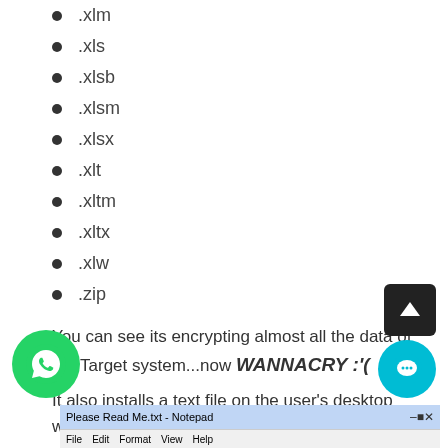.xlm
.xls
.xlsb
.xlsm
.xlsx
.xlt
.xltm
.xltx
.xlw
.zip
You can see its encrypting almost all the data of the Target system...now WANNACRY :'(
It also installs a text file on the user's desktop with the following ransom note:
[Figure (screenshot): Notepad window showing 'Please Read Me.txt - Notepad' with File, Edit, Format, View, Help menu bar]